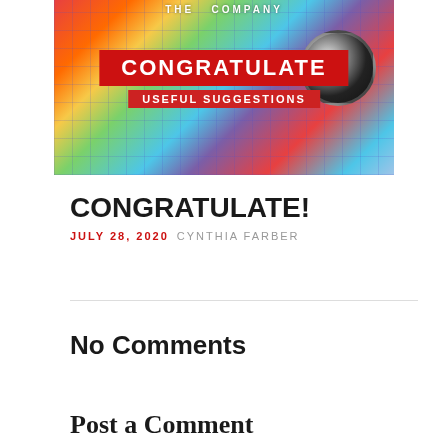[Figure (illustration): Colorful social media themed banner image with grid background, social media icons, a large speaker/globe, and overlaid text: 'THE COMPANY', 'CONGRATULATE', 'USEFUL SUGGESTIONS']
CONGRATULATE!
JULY 28, 2020  CYNTHIA FARBER
No Comments
Post a Comment